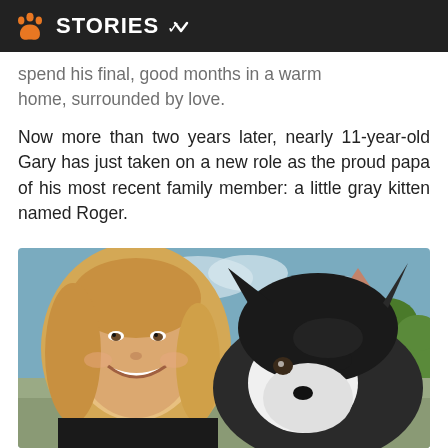STORIES
spend his final, good months in a warm home, surrounded by love.
Now more than two years later, nearly 11-year-old Gary has just taken on a new role as the proud papa of his most recent family member: a little gray kitten named Roger.
[Figure (photo): A smiling blonde woman takes a selfie outdoors with a large black and white dog (resembling a Malamute or Husky mix) beside her. The background shows a desert landscape with red rock formations, shrubs, and trees under a partly cloudy sky.]